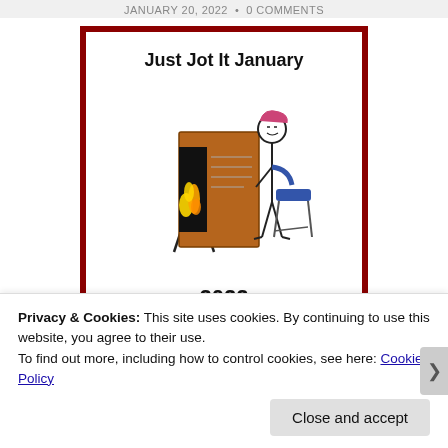JANUARY 20, 2022  •  0 COMMENTS
[Figure (illustration): Just Jot It January 2022 badge. A bordered box with dark red border containing bold text 'Just Jot It January' at the top, a hand-drawn illustration of a stick figure with reddish hair sitting at a desk with an easel/board showing flames and writing, and bold text '2022' at the bottom.]
Privacy & Cookies: This site uses cookies. By continuing to use this website, you agree to their use.
To find out more, including how to control cookies, see here: Cookie Policy
Close and accept